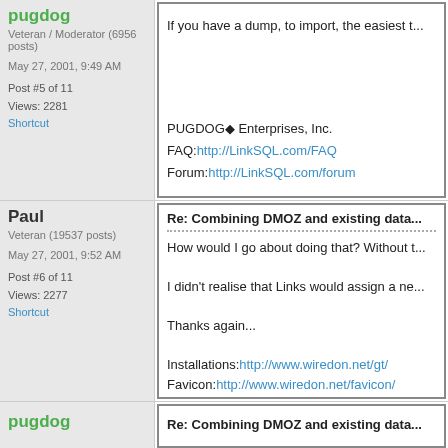pugdog - Veteran / Moderator (6956 posts)
May 27, 2001, 9:49 AM
Post #5 of 11
Views: 2281
Shortcut
If you have a dump, to import, the easiest t...
PUGDOG◆ Enterprises, Inc.
FAQ:http://LinkSQL.com/FAQ
Forum:http://LinkSQL.com/forum
Paul - Veteran (19537 posts)
May 27, 2001, 9:52 AM
Post #6 of 11
Views: 2277
Shortcut
Re: Combining DMOZ and existing data...
How would I go about doing that? Without t...

I didn't realise that Links would assign a ne...

Thanks again...

Installations:http://www.wiredon.net/gt/
Favicon:http://www.wiredon.net/favicon/
pugdog
Re: Combining DMOZ and existing data...